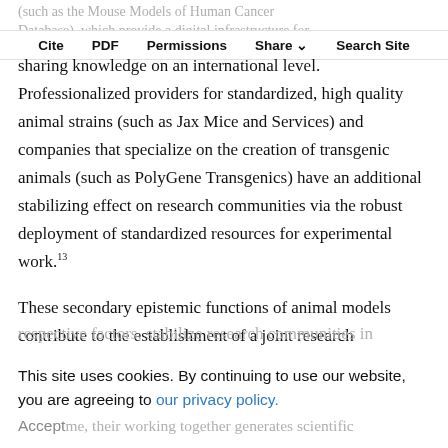(such as the Mouse Models of Human Cancer Database), which provide a digital infrastructure for
Cite  PDF  Permissions  Share  Search Site
sharing knowledge on an international level. Professionalized providers for standardized, high quality animal strains (such as Jax Mice and Services) and companies that specialize on the creation of transgenic animals (such as PolyGene Transgenics) have an additional stabilizing effect on research communities via the robust deployment of standardized resources for experimental work.13
These secondary epistemic functions of animal models contribute to the establishment of a joint research
This site uses cookies. By continuing to use our website, you are agreeing to our privacy policy. Accept
respective factors, stabilize research communities in ... s. At the ... me, their working together generates scientific